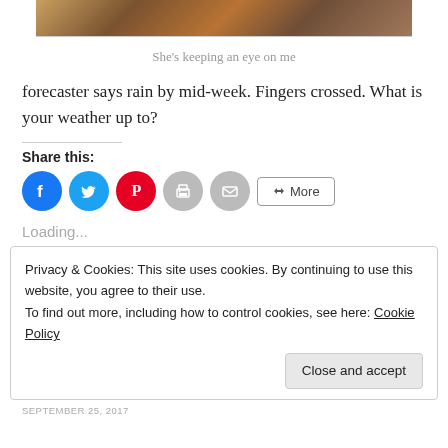[Figure (photo): Cropped bottom portion of a nature/animal photograph showing brown and orange tones, partially visible at the top of the page.]
She’s keeping an eye on me
forecaster says rain by mid-week. Fingers crossed. What is your weather up to?
Share this:
[Figure (infographic): Social share buttons: Facebook (blue circle), Twitter (blue circle), Pinterest (red circle), Print (grey circle), Email (grey circle), and a More button.]
Loading...
Privacy & Cookies: This site uses cookies. By continuing to use this website, you agree to their use.
To find out more, including how to control cookies, see here: Cookie Policy
SEPTEMBER 25, 2017